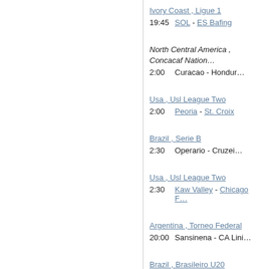Ivory Coast , Ligue 1
19:45   SOL - ES Bafing
North Central America , Concacaf Nations League
2:00   Curacao - Honduras
Usa , Usl League Two
2:00   Peoria - St. Croix
Brazil , Serie B
2:30   Operario - Cruzeiro
Usa , Usl League Two
2:30   Kaw Valley - Chicago
Argentina , Torneo Federal
20:00   Sansinena - CA Liniers
Brazil , Brasileiro U20
20:00   America MG U20 - Fortaleza